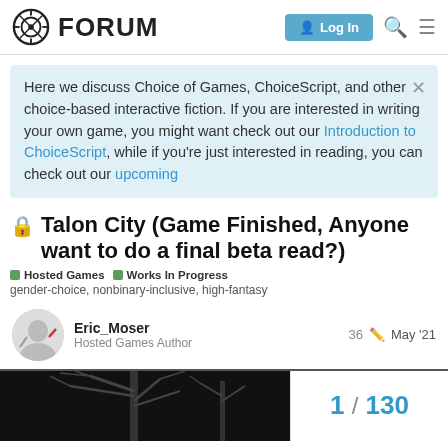FORUM | Log In
Here we discuss Choice of Games, ChoiceScript, and other choice-based interactive fiction. If you are interested in writing your own game, you might want check out our Introduction to ChoiceScript, while if you're just interested in reading, you can check out our upcoming
🔒 Talon City (Game Finished, Anyone want to do a final beta read?)
Hosted Games  Works In Progress
gender-choice, nonbinary-inclusive, high-fantasy
Eric_Moser
Hosted Games Author
36  May '21
[Figure (illustration): Dark illustrated image showing bare tree branches against a dark background, partially visible at bottom of page]
1 / 130